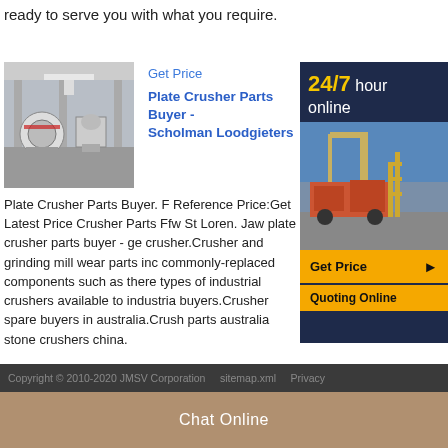ready to serve you with what you require.
Get Price
Plate Crusher Parts Buyer - Scholman Loodgieters
[Figure (photo): Industrial crusher machinery in a factory setting]
Plate Crusher Parts Buyer. F Reference Price:Get Latest Price Crusher Parts Ffw St Loren. Jaw plate crusher parts buyer - ge crusher.Crusher and grinding mill wear parts inc commonly-replaced components such as there types of industrial crushers available to industria buyers.Crusher spare buyers in australia.Crush parts australia stone crushers china.
[Figure (photo): 24/7 hour online banner with crusher machinery photo, Get Price button and Quoting Online]
Get Price
Copyright © 2010-2020 JMSV Corporation     sitemap.xml     Privacy
Chat Online